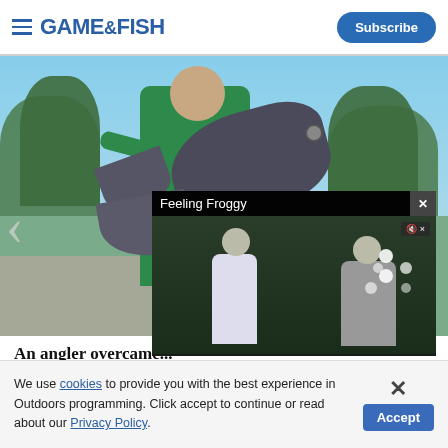GAME&FISH | Subscribe
[Figure (photo): Person in green shirt holding a large black drum fish outdoors, with trees and parking lot in background. A video overlay titled 'Feeling Froggy' is shown over the lower-right portion of the photo, with two anglers visible in the video frame and video controls showing 00:00 / 04:14.]
An angler overcame... the new state record with a 60-pound, 53.4 inch...
We use cookies to provide you with the best experience in Outdoors programming. Click accept to continue or read about our Privacy Policy.